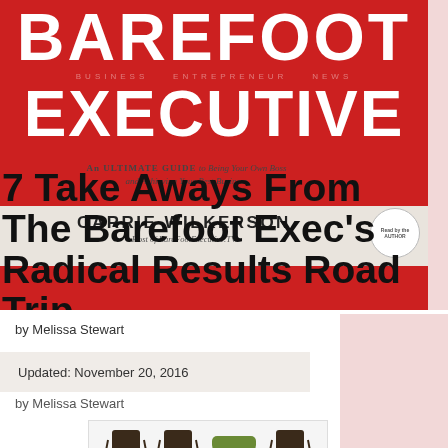[Figure (illustration): Book cover of 'Barefoot Executive' by Carrie Wilkerson overlaid with article title text '7 Take Aways From The Barefoot Exec's Radical Results Road Trip']
by Melissa Stewart
Updated: November 20, 2016
by Melissa Stewart
[Figure (photo): Book cover showing office chairs and a green armchair, with red banner reading 'Special Feature: Interview with Carrie Wilkerson' and 'The']